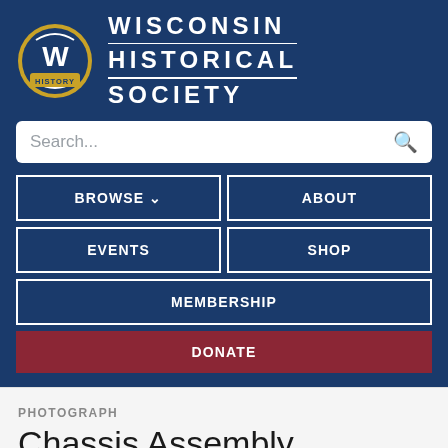[Figure (logo): Wisconsin Historical Society logo — circular badge with W letter and 'HISTORY' text]
WISCONSIN HISTORICAL SOCIETY
Search...
BROWSE
ABOUT
EVENTS
SHOP
MEMBERSHIP
DONATE
PHOTOGRAPH
Chassis Assembly